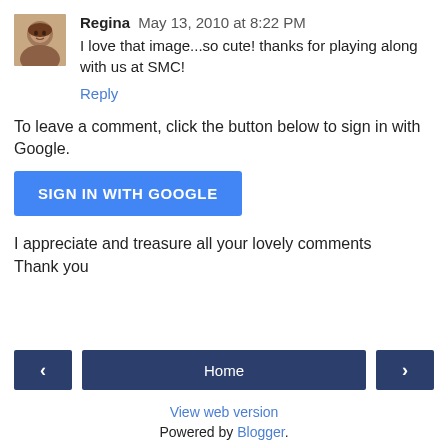Regina May 13, 2010 at 8:22 PM
I love that image...so cute! thanks for playing along with us at SMC!
Reply
To leave a comment, click the button below to sign in with Google.
[Figure (other): Blue button labeled SIGN IN WITH GOOGLE]
I appreciate and treasure all your lovely comments
Thank you
[Figure (other): Navigation bar with left arrow, Home button, and right arrow]
View web version
Powered by Blogger.